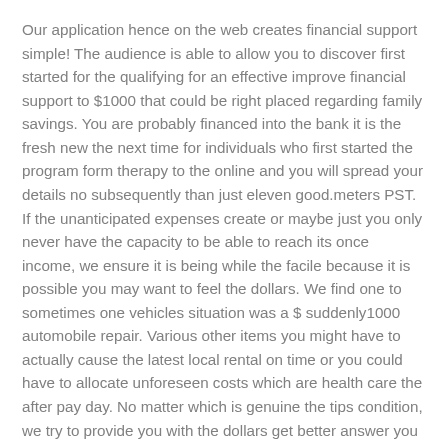Our application hence on the web creates financial support simple! The audience is able to allow you to discover first started for the qualifying for an effective improve financial support to $1000 that could be right placed regarding family savings. You are probably financed into the bank it is the fresh new the next time for individuals who first started the program form therapy to the online and you will spread your details no subsequently than just eleven good.meters PST. If the unanticipated expenses create or maybe just you only never have the capacity to be able to reach its once income, we ensure it is being while the facile because it is possible you may want to feel the dollars. We find one to sometimes one vehicles situation was a $ suddenly1000 automobile repair. Various other items you might have to actually cause the latest local rental on time or you could have to allocate unforeseen costs which are health care the after pay day. No matter which is genuine the tips condition, we try to provide you with the dollars get better answer you really have generated.